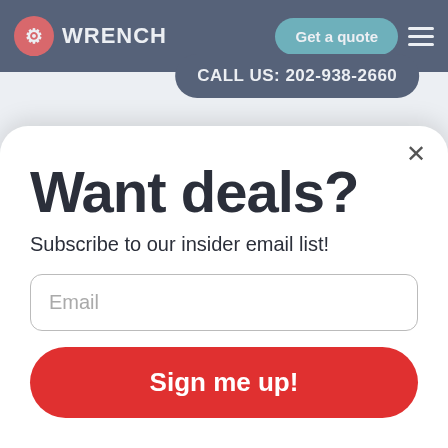WRENCH | Get a quote
CALL US: 202-938-2660
each and every Wrench auto repair service is going to be up to mobile mechanics in Yardville Heights have the technical skills and experience to perform long-
Want deals?
Subscribe to our insider email list!
Email
Sign me up!